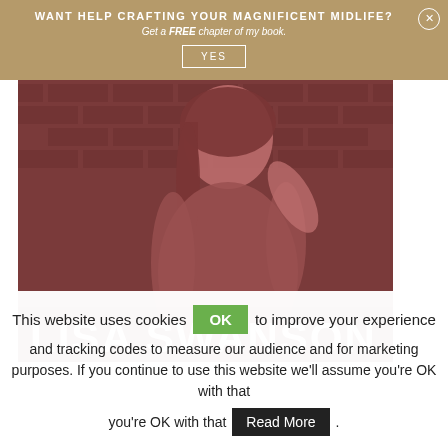[Figure (photo): Photo of Lisa Swanson, a woman with long dark hair, smiling, standing in front of a brick wall. The image has a reddish-pink overlay tint. Her name 'LISA SWANSON' appears in large white bold text at the bottom of the image.]
WANT HELP CRAFTING YOUR MAGNIFICENT MIDLIFE?
Get a FREE chapter of my book.
YES
This website uses cookies OK to improve your experience and tracking codes to measure our audience and for marketing purposes. If you continue to use this website we'll assume you're OK with that Read More .